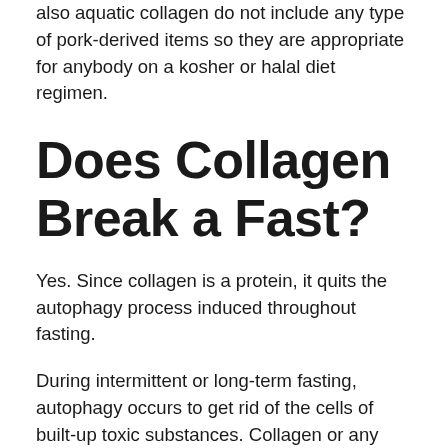also aquatic collagen do not include any type of pork-derived items so they are appropriate for anybody on a kosher or halal diet regimen.
Does Collagen Break a Fast?
Yes. Since collagen is a protein, it quits the autophagy process induced throughout fasting.
During intermittent or long-term fasting, autophagy occurs to get rid of the cells of built-up toxic substances. Collagen or any other sort of healthy protein is a guaranteed no while fasting.